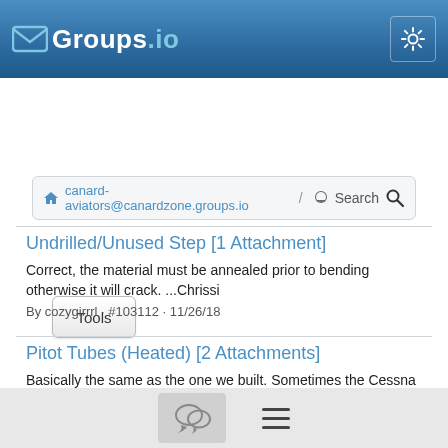Groups.io
canard-aviators@canardzone.groups.io / Search
Tools
Date
Undrilled/Unused Step [1 Attachment]
Correct, the material must be annealed prior to bending otherwise it will crack. ...Chrissi
By cozygirrrl · #103112 · 11/26/18
Pitot Tubes (Heated) [2 Attachments]
Basically the same as the one we built. Sometimes the Cessna cartridges are backordered. ...Chrissi